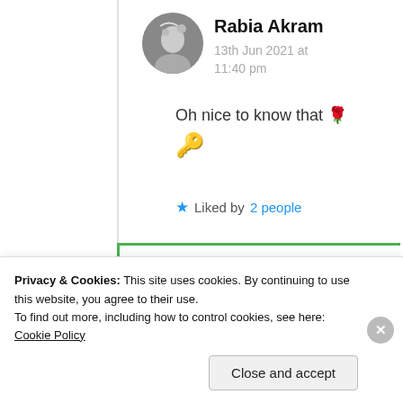[Figure (photo): Circular avatar photo of Rabia Akram, black and white image showing a person with birds]
Rabia Akram
13th Jun 2021 at 11:40 pm
Oh nice to know that 🌹
🔑
★ Liked by 2 people
[Figure (photo): Circular avatar photo of Syma Reddy, partially visible]
Syma Reddy
Privacy & Cookies: This site uses cookies. By continuing to use this website, you agree to their use.
To find out more, including how to control cookies, see here: Cookie Policy
Close and accept